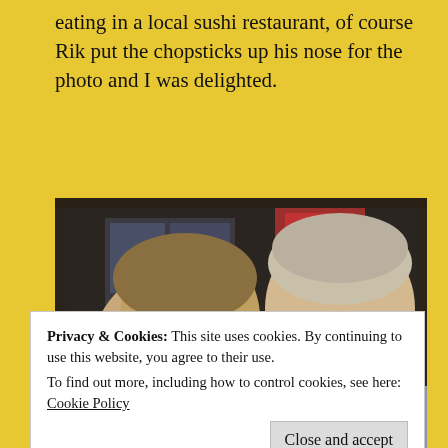eating in a local sushi restaurant, of course Rik put the chopsticks up his nose for the photo and I was delighted.
[Figure (photo): Two men at a sushi restaurant with chopsticks inserted in their nostrils, posing for a photo. Japanese signage visible in background.]
Privacy & Cookies: This site uses cookies. By continuing to use this website, you agree to their use.
To find out more, including how to control cookies, see here: Cookie Policy
Close and accept
[Figure (photo): Partial bottom strip showing another photograph, partially obscured.]